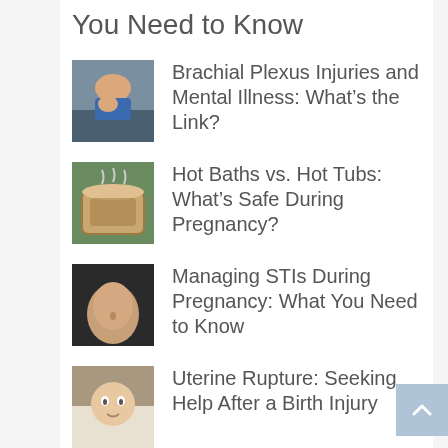You Need to Know
Brachial Plexus Injuries and Mental Illness: What's the Link?
Hot Baths vs. Hot Tubs: What's Safe During Pregnancy?
Managing STIs During Pregnancy: What You Need to Know
Uterine Rupture: Seeking Help After a Birth Injury